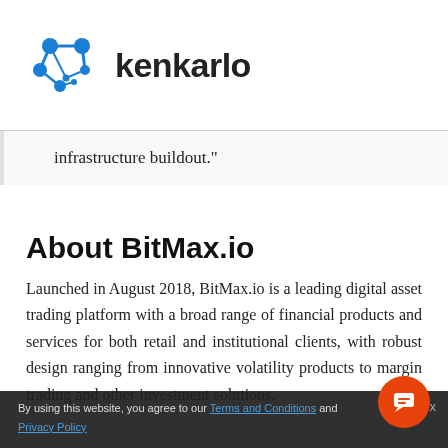[Figure (logo): Kenkarlo logo: blue network/molecule icon followed by the text 'kenkarlo' in bold dark lettering]
infrastructure buildout."
About BitMax.io
Launched in August 2018, BitMax.io is a leading digital asset trading platform with a broad range of financial products and services for both retail and institutional clients, with robust design ranging from innovative volatility products to margin trading and other investment solutions.
By using this website, you agree to our Terms and Conditions and Privacy Policy